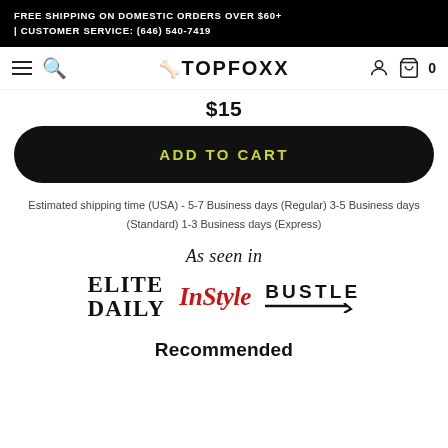FREE SHIPPING ON DOMESTIC ORDERS OVER $60+ | CUSTOMER SERVICE: (646) 540-7419
TOPFOXX
$15
ADD TO CART
Estimated shipping time (USA) - 5-7 Business days (Regular) 3-5 Business days (Standard) 1-3 Business days (Express)
As seen in
[Figure (logo): ELITE DAILY logo in black serif uppercase]
[Figure (logo): InStyle logo in red italic serif]
[Figure (logo): BUSTLE logo in black uppercase sans-serif with underline]
Recommended